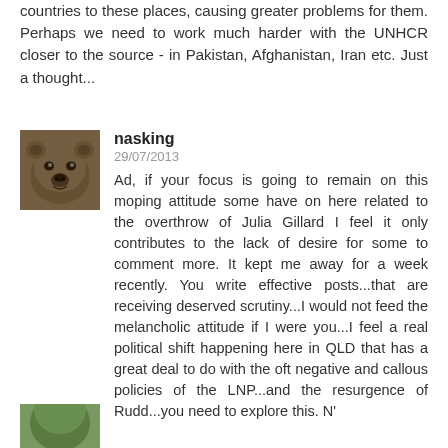countries to these places, causing greater problems for them. Perhaps we need to work much harder with the UNHCR closer to the source - in Pakistan, Afghanistan, Iran etc. Just a thought...
nasking
29/07/2013
Ad, if your focus is going to remain on this moping attitude some have on here related to the overthrow of Julia Gillard I feel it only contributes to the lack of desire for some to comment more. It kept me away for a week recently. You write effective posts...that are receiving deserved scrutiny...I would not feed the melancholic attitude if I were you...I feel a real political shift happening here in QLD that has a great deal to do with the oft negative and callous policies of the LNP...and the resurgence of Rudd...you need to explore this. N'
[Figure (photo): Avatar image of a brown bear (grizzly bear) face close-up, partially visible at the bottom of the page]